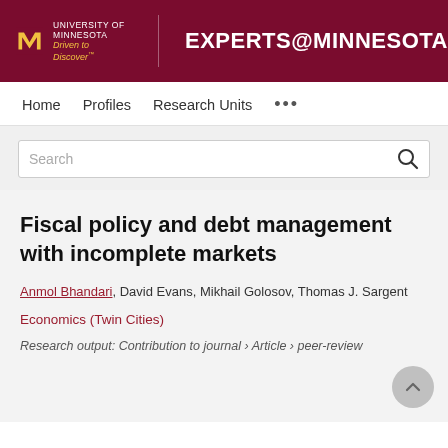University of Minnesota Driven to Discover — EXPERTS@MINNESOTA
Home   Profiles   Research Units   ...
Search
Fiscal policy and debt management with incomplete markets
Anmol Bhandari, David Evans, Mikhail Golosov, Thomas J. Sargent
Economics (Twin Cities)
Research output: Contribution to journal › Article › peer-review